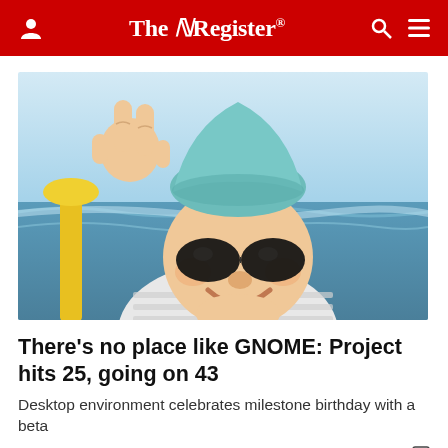The Register
[Figure (photo): Garden gnome figurine wearing sunglasses and a teal hat, making a peace sign, photographed at a beach with ocean in the background]
There's no place like GNOME: Project hits 25, going on 43
Desktop environment celebrates milestone birthday with a beta
APPLICATIONS   4 days | 37